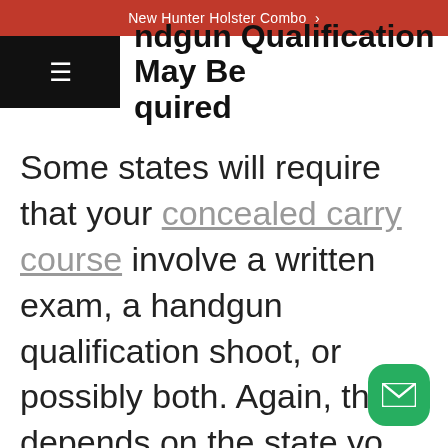New Hunter Holster Combo >
Handgun Qualification May Be Required
Some states will require that your concealed carry course involve a written exam, a handgun qualification shoot, or possibly both. Again, this depends on the state yo…